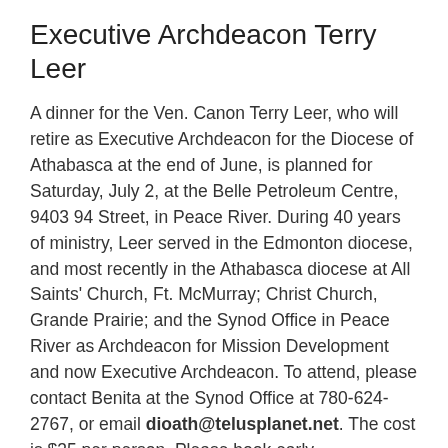Executive Archdeacon Terry Leer
A dinner for the Ven. Canon Terry Leer, who will retire as Executive Archdeacon for the Diocese of Athabasca at the end of June, is planned for Saturday, July 2, at the Belle Petroleum Centre, 9403 94 Street, in Peace River. During 40 years of ministry, Leer served in the Edmonton diocese, and most recently in the Athabasca diocese at All Saints' Church, Ft. McMurray; Christ Church, Grande Prairie; and the Synod Office in Peace River as Archdeacon for Mission Development and now Executive Archdeacon. To attend, please contact Benita at the Synod Office at 780-624-2767, or email dioath@telusplanet.net. The cost is $35 per person. Please book early.